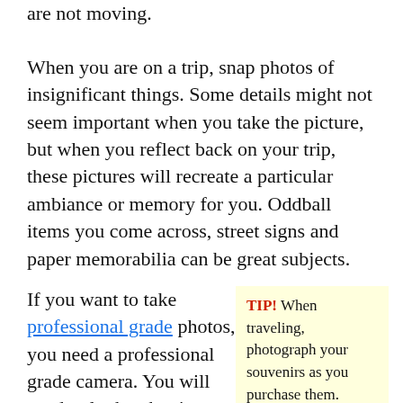are not moving.
When you are on a trip, snap photos of insignificant things. Some details might not seem important when you take the picture, but when you reflect back on your trip, these pictures will recreate a particular ambiance or memory for you. Oddball items you come across, street signs and paper memorabilia can be great subjects.
If you want to take professional grade photos, you need a professional grade camera. You will need to look at buying a digital
TIP! When traveling, photograph your souvenirs as you purchase them. Having the back-